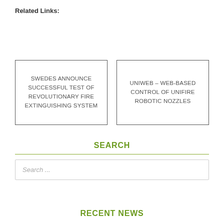Related Links:
SWEDES ANNOUNCE SUCCESSFUL TEST OF REVOLUTIONARY FIRE EXTINGUISHING SYSTEM
UNIWEB – WEB-BASED CONTROL OF UNIFIRE ROBOTIC NOZZLES
SEARCH
Search ...
RECENT NEWS